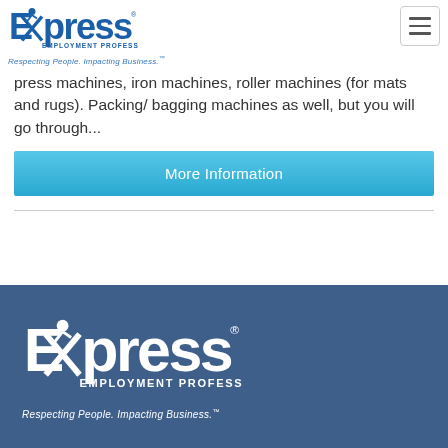[Figure (logo): Express Employment Professionals logo with tagline 'Respecting People. Impacting Business.']
press machines, iron machines, roller machines (for mats and rugs). Packing/ bagging machines as well, but you will go through...
More Information
[Figure (logo): Express Employment Professionals footer logo with tagline 'Respecting People. Impacting Business.']